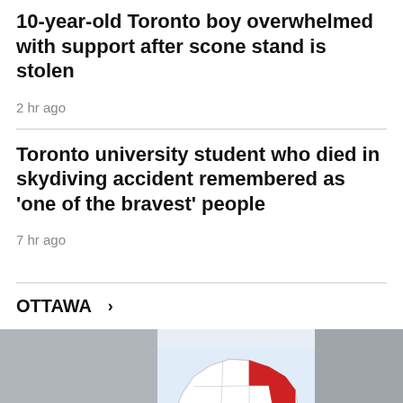10-year-old Toronto boy overwhelmed with support after scone stand is stolen
2 hr ago
Toronto university student who died in skydiving accident remembered as 'one of the bravest' people
7 hr ago
OTTAWA >
[Figure (map): Map of Ottawa region with one district highlighted in red in the northeast, and a blue marker in the center-south area.]
[Figure (photo): Gray photo thumbnail on the left side.]
[Figure (photo): Gray photo thumbnail on the right side.]